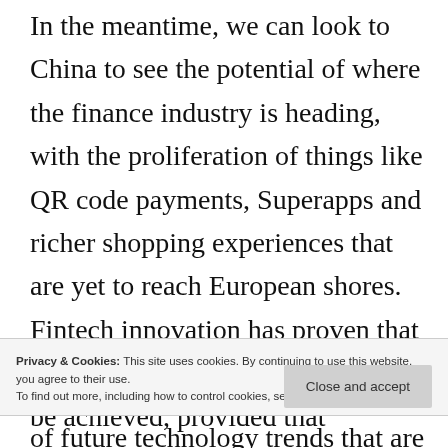In the meantime, we can look to China to see the potential of where the finance industry is heading, with the proliferation of things like QR code payments, Superapps and richer shopping experiences that are yet to reach European shores. Fintech innovation has proven that reaching out to the unbanked can be achieved, provided that smartphone connectivity and usage are prevalent as the basic requirement among consumers.
Privacy & Cookies: This site uses cookies. By continuing to use this website, you agree to their use.
To find out more, including how to control cookies, see here: Cookie Policy
of future technology trends that are already